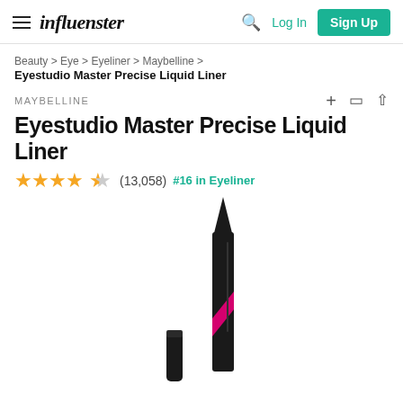influenster — Log In  Sign Up
Beauty > Eye > Eyeliner > Maybelline > Eyestudio Master Precise Liquid Liner
MAYBELLINE
Eyestudio Master Precise Liquid Liner
★★★★☆ (13,058) #16 in Eyeliner
[Figure (photo): Product photo of Maybelline Eyestudio Master Precise Liquid Liner — a slim black eyeliner pen with pink diagonal stripe detail and cap shown separately, on white background]